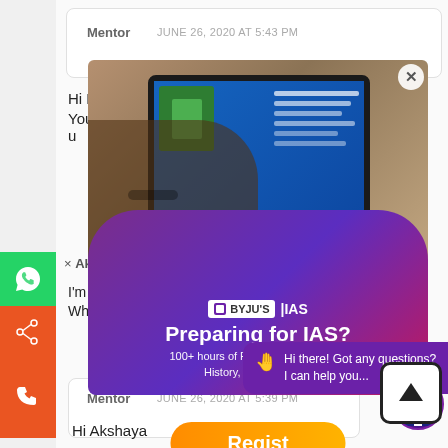Mentor   JUNE 26, 2020 AT 5:43 PM
Hi Pranathi
You have to choose one optional subject for u
[Figure (screenshot): BYJU's IAS popup overlay showing a student using a tablet with educational content, with text 'Preparing for IAS? 100+ hours of Free Prep Material on History, Polity & more!' and a Register button. Also shows a chat bubble saying 'Hi there! Got any questions? I can help you...']
× Ak
I'm f
Whic
Mentor   JUNE 26, 2020 AT 5:39 PM
Hi Akshaya